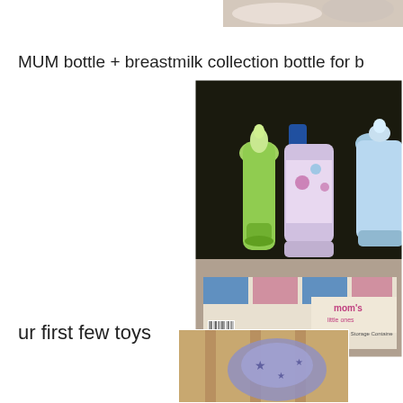[Figure (photo): Partial photo at top right corner, cut off]
MUM bottle + breastmilk collection bottle for b
[Figure (photo): Photo of baby bottles including a green bottle, a blue-capped decorative bottle, and a clear blue bottle, with a Mom's Little Ones breastmilk storage container box in the foreground]
ur first few toys
[Figure (photo): Partial photo at bottom right showing what appears to be a soft toy or clothing item]